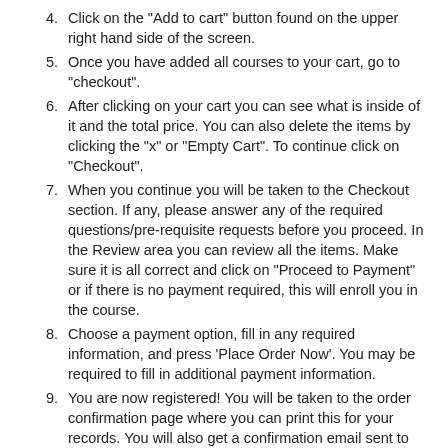4. Click on the "Add to cart" button found on the upper right hand side of the screen.
5. Once you have added all courses to your cart, go to "checkout".
6. After clicking on your cart you can see what is inside of it and the total price. You can also delete the items by clicking the "x" or "Empty Cart". To continue click on "Checkout".
7. When you continue you will be taken to the Checkout section. If any, please answer any of the required questions/pre-requisite requests before you proceed. In the Review area you can review all the items. Make sure it is all correct and click on "Proceed to Payment" or if there is no payment required, this will enroll you in the course.
8. Choose a payment option, fill in any required information, and press 'Place Order Now'. You may be required to fill in additional payment information.
9. You are now registered! You will be taken to the order confirmation page where you can print this for your records. You will also get a confirmation email sent to you.
-OR-
Print out registration form, fill out completely and fax to 609-441-3111 or mail to: